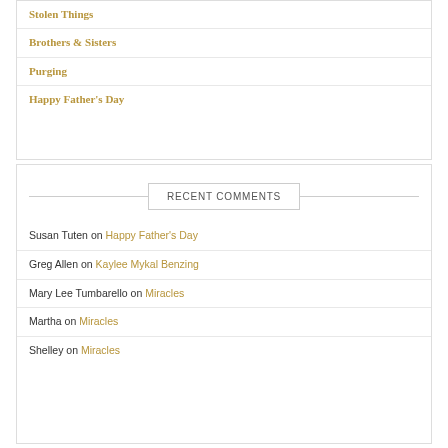Stolen Things
Brothers & Sisters
Purging
Happy Father's Day
RECENT COMMENTS
Susan Tuten on Happy Father's Day
Greg Allen on Kaylee Mykal Benzing
Mary Lee Tumbarello on Miracles
Martha on Miracles
Shelley on Miracles